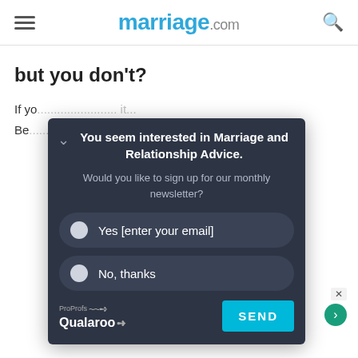marriage.com
but you don't?
If yo...
Be...
[Figure (screenshot): Qualaroo popup modal on marriage.com asking: 'You seem interested in Marriage and Relationship Advice. Would you like to sign up for our monthly newsletter?' with Yes [enter your email] and No, thanks radio button options, and a SEND button. Branded with ProProfs Qualaroo logo.]